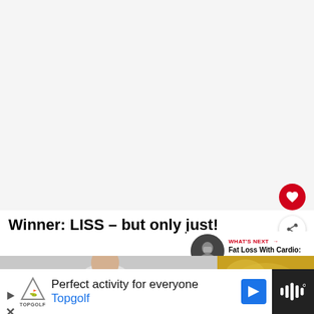[Figure (photo): Light gray blank area at top of page, representing a large image placeholder]
Winner: LISS – but only just!
WHAT'S NEXT → Fat Loss With Cardio: HiiT ...
[Figure (photo): Photo strip showing a person in a gray t-shirt on the left and a yellow background on the right]
Perfect activity for everyone Topgolf